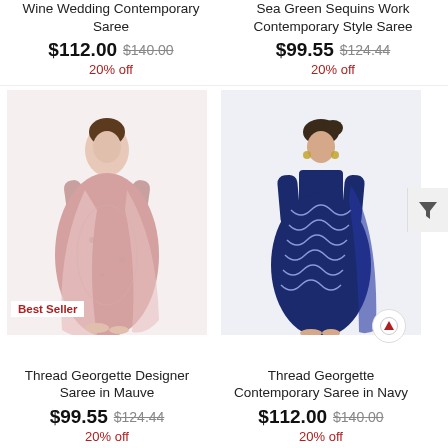Wine Wedding Contemporary Saree
$112.00  $140.00  20% off
Sea Green Sequins Work Contemporary Style Saree
$99.55  $124.44  20% off
[Figure (photo): Model wearing a pink/mauve Thread Georgette Designer Saree with floral embroidery, Best Seller badge at bottom left]
[Figure (photo): Model wearing a navy blue Thread Georgette Contemporary Saree with sequin wave pattern]
Thread Georgette Designer Saree in Mauve
$99.55  $124.44  20% off
Thread Georgette Contemporary Saree in Navy
$112.00  $140.00  20% off